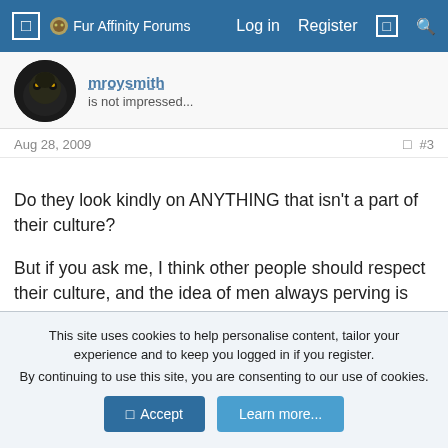Fur Affinity Forums  Log in  Register
[Figure (other): User avatar: dark wolf/panther image, circular crop]
mroysmith
is not impressed...
Aug 28, 2009  #3
Do they look kindly on ANYTHING that isn't a part of their culture?

But if you ask me, I think other people should respect their culture, and the idea of men always perving is extremely silly, sort of offensive to me... but seriously, if they have to identify themselves they should show their face and ID, but banning a part of their culture is a bit absurd...
viffy_the_wolf_boy
This site uses cookies to help personalise content, tailor your experience and to keep you logged in if you register.
By continuing to use this site, you are consenting to our use of cookies.